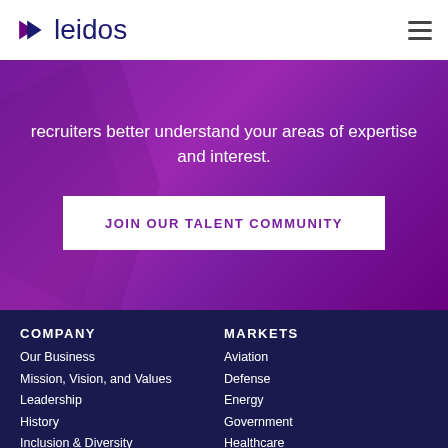[Figure (logo): Leidos company logo with purple arrow/chevron icon and dark navy 'leidos' wordmark]
recruiters better understand your areas of expertise and interest.
JOIN OUR TALENT COMMUNITY
COMPANY
Our Business
Mission, Vision, and Values
Leadership
History
Inclusion & Diversity
Responsibility &
MARKETS
Aviation
Defense
Energy
Government
Healthcare
Homeland